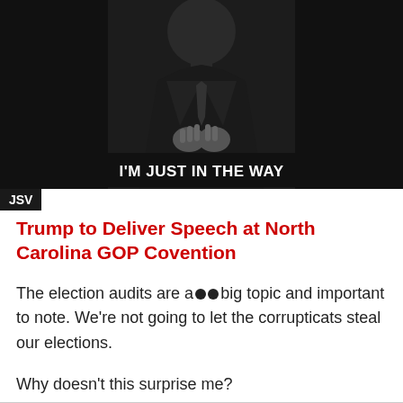[Figure (photo): Black and white photo of a person in a suit sitting in a chair with hands clasped, with text overlay reading I'M JUST IN THE WAY]
JSV
Trump to Deliver Speech at North Carolina GOP Covention
The election audits are a big topic and important to note. We're not going to let the corrupticats steal our elections.
Why doesn't this surprise me?